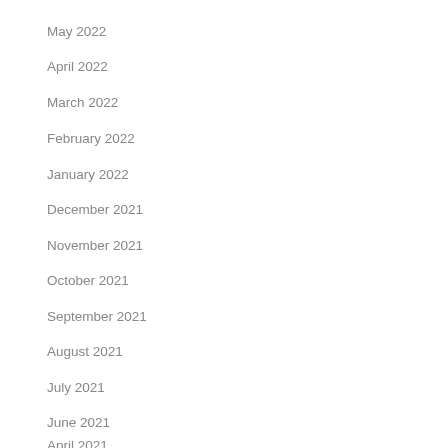May 2022
April 2022
March 2022
February 2022
January 2022
December 2021
November 2021
October 2021
September 2021
August 2021
July 2021
June 2021
April 2021